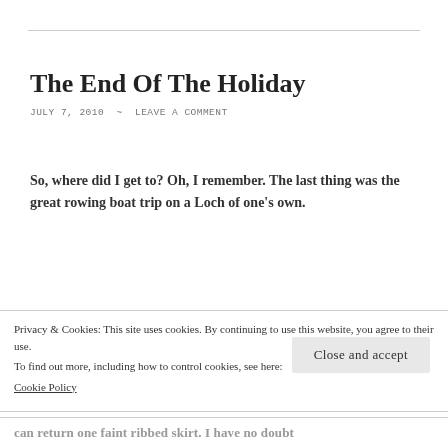The End Of The Holiday
JULY 7, 2010  ~  LEAVE A COMMENT
So, where did I get to? Oh, I remember. The last thing was the great rowing boat trip on a Loch of one's own.
Ah, holidays. I am seriously wondering if they
Privacy & Cookies: This site uses cookies. By continuing to use this website, you agree to their use.
To find out more, including how to control cookies, see here:
Cookie Policy
Close and accept
can return one faint ribbed skirt. I have no doubt